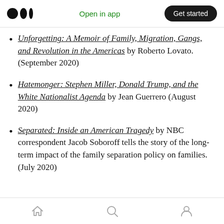Medium logo | Open in app | Get started
Unforgetting: A Memoir of Family, Migration, Gangs, and Revolution in the Americas by Roberto Lovato. (September 2020)
Hatemonger: Stephen Miller, Donald Trump, and the White Nationalist Agenda by Jean Guerrero (August 2020)
Separated: Inside an American Tragedy by NBC correspondent Jacob Soboroff tells the story of the long-term impact of the family separation policy on families. (July 2020)
Home | Search | Profile